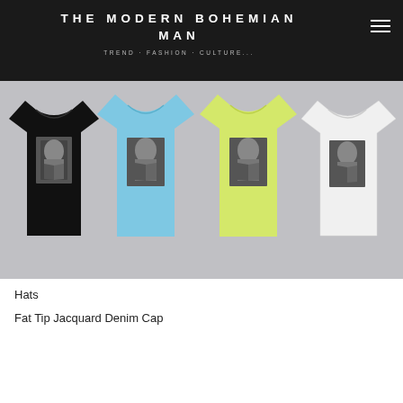THE MODERN BOHEMIAN MAN
TREND · FASHION · CULTURE...
[Figure (photo): Four t-shirts displayed side by side in black, light blue, yellow-green, and white colors, each featuring a black-and-white portrait graphic on the chest. Background is light gray.]
Hats
Fat Tip Jacquard Denim Cap